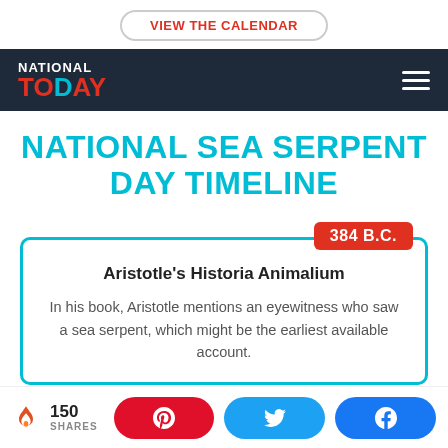VIEW THE CALENDAR
[Figure (screenshot): National Today logo with navigation bar on dark navy background]
NATIONAL SEA SERPENT DAY TIMELINE
384 B.C.
Aristotle's Historia Animalium
In his book, Aristotle mentions an eyewitness who saw a sea serpent, which might be the earliest available account.
150 SHARES